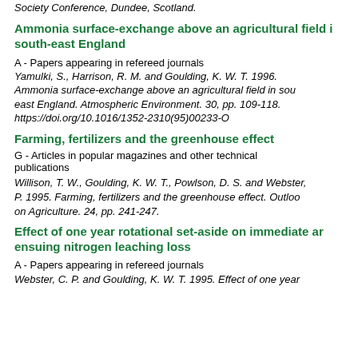Society Conference, Dundee, Scotland.
Ammonia surface-exchange above an agricultural field in south-east England
A - Papers appearing in refereed journals
Yamulki, S., Harrison, R. M. and Goulding, K. W. T. 1996. Ammonia surface-exchange above an agricultural field in south-east England. Atmospheric Environment. 30, pp. 109-118. https://doi.org/10.1016/1352-2310(95)00233-O
Farming, fertilizers and the greenhouse effect
G - Articles in popular magazines and other technical publications
Willison, T. W., Goulding, K. W. T., Powlson, D. S. and Webster, P. 1995. Farming, fertilizers and the greenhouse effect. Outlook on Agriculture. 24, pp. 241-247.
Effect of one year rotational set-aside on immediate and ensuing nitrogen leaching loss
A - Papers appearing in refereed journals
Webster, C. P. and Goulding, K. W. T. 1995. Effect of one year...